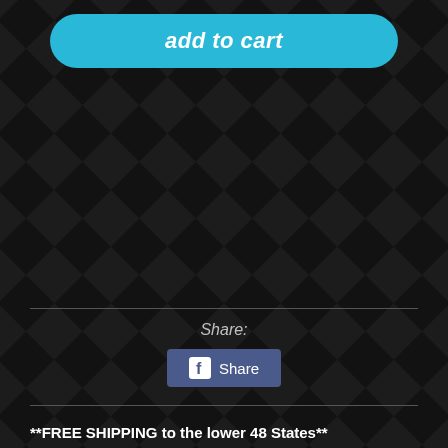[Figure (screenshot): Add to cart button — cyan/teal rounded button with italic white bold text 'add to cart']
[Figure (screenshot): Checkered racing flag pattern background in dark gray tones]
Share:
[Figure (screenshot): Facebook Share button — dark blue rounded rectangle with Facebook 'f' icon and text 'Share']
**FREE SHIPPING to the lower 48 States**
Spring Rate: FFr: 8K, Rr: 6K

Piston Diameter: 44mm

The N1 ExV Damper is the newest edition to our high performance street line of coilover suspension. The Expert